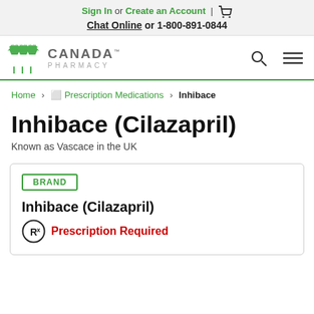Sign In or Create an Account | [cart] Chat Online or 1-800-891-0844
[Figure (logo): Canada Pharmacy logo with maple leaf cluster]
Home › Prescription Medications › Inhibace
Inhibace (Cilazapril)
Known as Vascace in the UK
BRAND
Inhibace (Cilazapril)
Rx Prescription Required